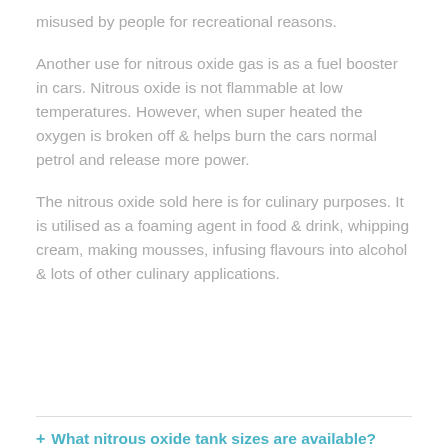misused by people for recreational reasons.
Another use for nitrous oxide gas is as a fuel booster in cars. Nitrous oxide is not flammable at low temperatures. However, when super heated the oxygen is broken off & helps burn the cars normal petrol and release more power.
The nitrous oxide sold here is for culinary purposes. It is utilised as a foaming agent in food & drink, whipping cream, making mousses, infusing flavours into alcohol & lots of other culinary applications.
+ What nitrous oxide tank sizes are available?